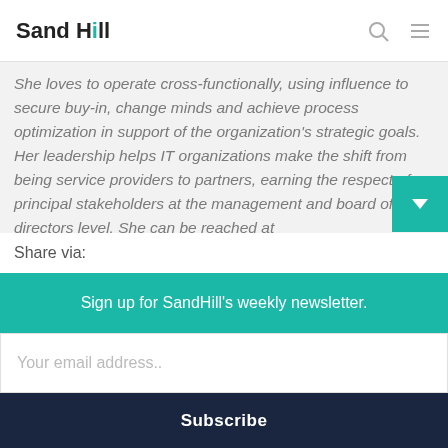Sand Hill
She loves to operate cross-functionally, using influence to secure buy-in, change minds and achieve process optimization in support of the organization's strategic goals. Her leadership helps IT organizations make the shift from being service providers to partners, earning the respect of principal stakeholders at the management and board of directors level. She can be reached at Malini.balakrishnan@buildwithbmc.com.
Share via:
Sign up for SandHill's weekly newsletter.
Your email address..
Subscribe